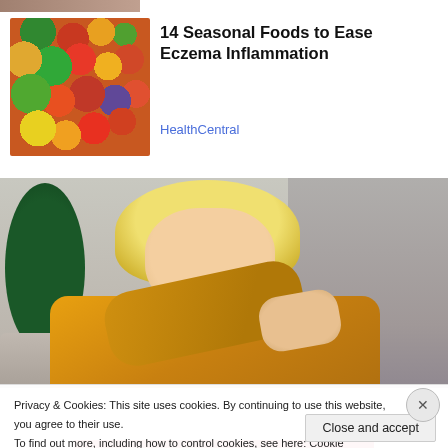[Figure (photo): Partial top strip of an image, cropped at top edge of page]
[Figure (photo): Colorful array of seasonal fruits and vegetables including peppers, tomatoes, citrus, kiwi, and greens]
14 Seasonal Foods to Ease Eczema Inflammation
HealthCentral
[Figure (photo): Woman with blonde bob haircut wearing a yellow knit sweater, looking downward, appearing to examine her arm, possibly scratching; plant visible in background, home setting]
Privacy & Cookies: This site uses cookies. By continuing to use this website, you agree to their use.
To find out more, including how to control cookies, see here: Cookie Policy
Close and accept